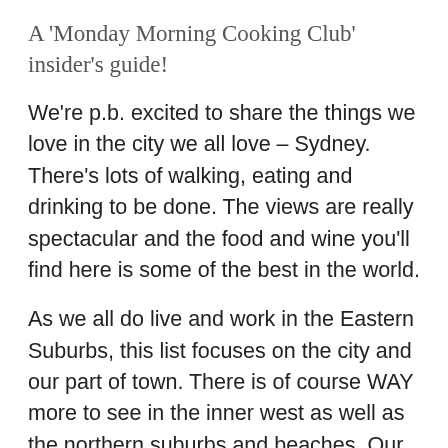A 'Monday Morning Cooking Club' insider's guide!
We're p.b. excited to share the things we love in the city we all love – Sydney. There's lots of walking, eating and drinking to be done. The views are really spectacular and the food and wine you'll find here is some of the best in the world.
As we all do live and work in the Eastern Suburbs, this list focuses on the city and our part of town. There is of course WAY more to see in the inner west as well as the northern suburbs and beaches. Our list focuses mainly on food, with a few touristy things thrown in.